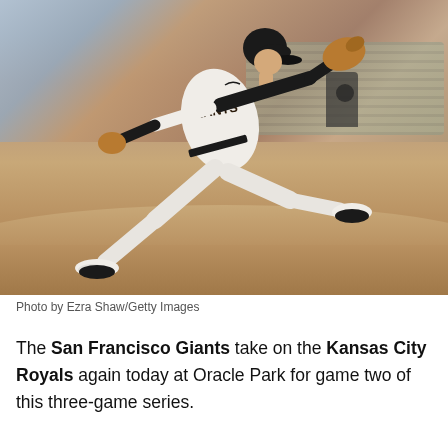[Figure (photo): San Francisco Giants pitcher in white Giants uniform mid-windup on the pitcher's mound at Oracle Park, with stadium crowd visible in the background]
Photo by Ezra Shaw/Getty Images
The San Francisco Giants take on the Kansas City Royals again today at Oracle Park for game two of this three-game series.